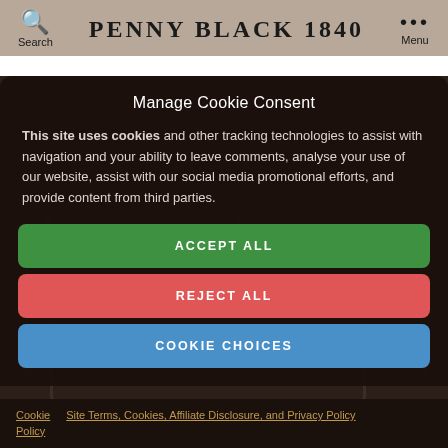Search  PENNY BLACK 1840  Menu
Manage Cookie Consent
This site uses cookies and other tracking technologies to assist with navigation and your ability to leave comments, analyse your use of our website, assist with our social media promotional efforts, and provide content from third parties.
ACCEPT ALL
REJECT ALL
COOKIE CHOICES
Cookie Policy
Site Terms, Cookies, Affiliate Disclosure, and Privacy Policy